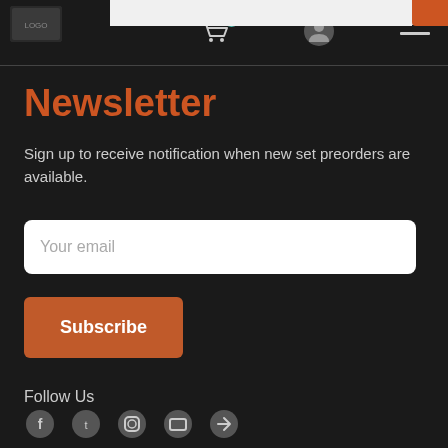[Figure (screenshot): Website header with logo on left, shopping cart icon with badge showing 0, user account icon, and hamburger menu icon. Orange button partially visible top right.]
Newsletter
Sign up to receive notification when new set preorders are available.
Your email
Subscribe
Follow Us